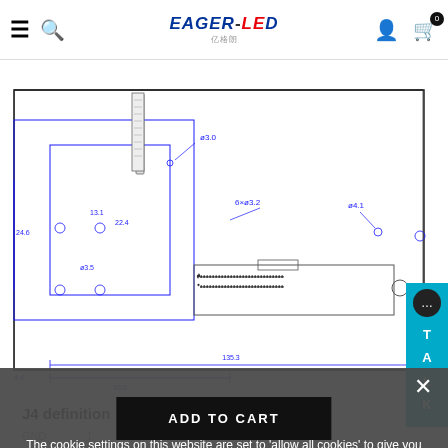EAGER-LED navigation bar with hamburger menu, search, logo, user icon, cart (0)
[Figure (engineering-diagram): Technical/dimensional drawing of an LED module or PCB component showing dimensions: 24.6, 13.1, 22.4, ø3.5, ø3.0, 6×ø3.2, ø4.1, 55.0, 135.3, 4.4 mm. Blue line drawing with connector detail.]
J4 definition（MOM interface）:
GND ... 1 ... 1 ... SPI_CS
SPI_CL ... 4 ... 4 ... SI
The cookie settings on this website are set to 'allow all cookies' to give you the very best experience. Please click Accept Cookies to continue to use the site.
ACCEPT COOKIES
PRIVACY POLICY
ADD TO CART